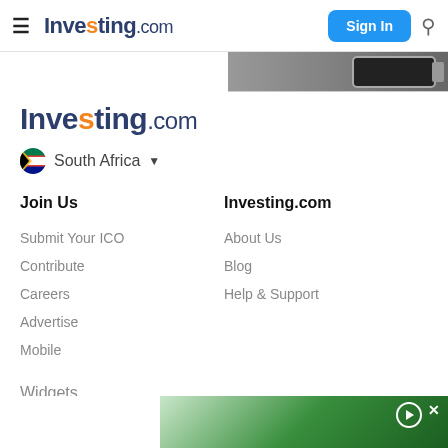Investing.com — Sign In navigation bar
[Figure (screenshot): Investing.com website navigation bar with hamburger menu, logo, Sign In button, and search icon]
Investing.com
South Africa ▾
Join Us
Investing.com
Submit Your ICO
Contribute
Careers
Advertise
Mobile
About Us
Blog
Help & Support
Widgets
[Figure (photo): Green gradient advertisement banner at bottom of page with play and close controls]